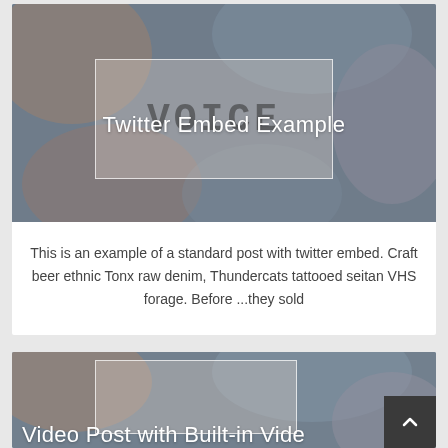[Figure (screenshot): Blog post card with blurred background image showing VOICE text watermark, overlaid with title 'Twitter Embed Example']
Twitter Embed Example
This is an example of a standard post with twitter embed. Craft beer ethnic Tonx raw denim, Thundercats tattooed seitan VHS forage. Before ...they sold
[Figure (screenshot): Second blog post card with blurred background image and title 'Video Post with Built-in Video']